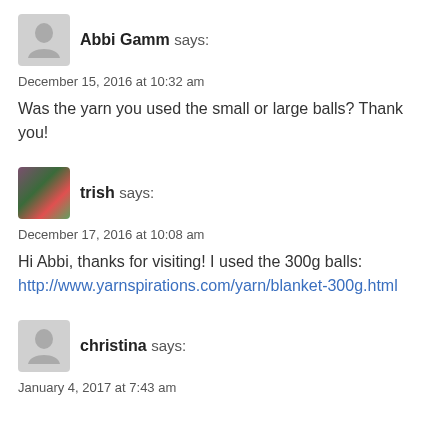Abbi Gamm says:
December 15, 2016 at 10:32 am
Was the yarn you used the small or large balls? Thank you!
trish says:
December 17, 2016 at 10:08 am
Hi Abbi, thanks for visiting! I used the 300g balls: http://www.yarnspirations.com/yarn/blanket-300g.html
christina says:
January 4, 2017 at 7:43 am